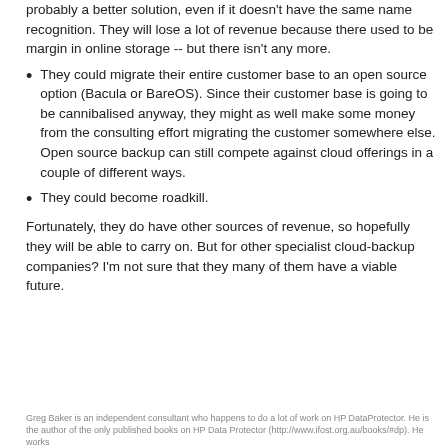probably a better solution, even if it doesn't have the same name recognition. They will lose a lot of revenue because there used to be margin in online storage -- but there isn't any more.
They could migrate their entire customer base to an open source option (Bacula or BareOS). Since their customer base is going to be cannibalised anyway, they might as well make some money from the consulting effort migrating the customer somewhere else. Open source backup can still compete against cloud offerings in a couple of different ways.
They could become roadkill.
Fortunately, they do have other sources of revenue, so hopefully they will be able to carry on. But for other specialist cloud-backup companies? I'm not sure that they many of them have a viable future.
Greg Baker is an independent consultant who happens to do a lot of work on HP DataProtector. He is the author of the only published books on HP Data Protector (http://www.ifost.org.au/books/#dp). He works